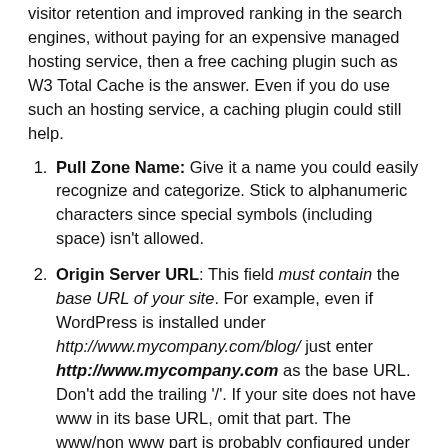visitor retention and improved ranking in the search engines, without paying for an expensive managed hosting service, then a free caching plugin such as W3 Total Cache is the answer. Even if you do use such an hosting service, a caching plugin could still help.
Pull Zone Name: Give it a name you could easily recognize and categorize. Stick to alphanumeric characters since special symbols (including space) isn't allowed.
Origin Server URL: This field must contain the base URL of your site. For example, even if WordPress is installed under http://www.mycompany.com/blog/ just enter http://www.mycompany.com as the base URL. Don't add the trailing '/'. If your site does not have www in its base URL, omit that part. The www/non www part is probably configured under Google Webmaster Dashboard. In this tutorial, I'm using a sub-domain and WordPress is installed under http://server12.hostwhitelabel.com/wpkube. Note